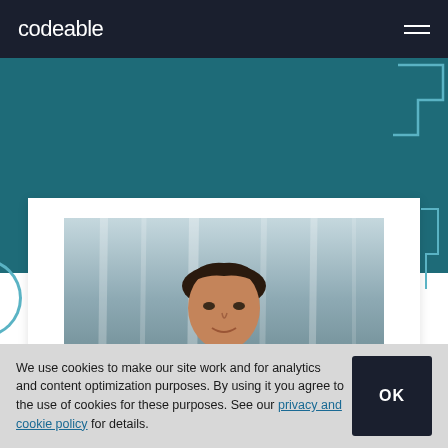codeable
[Figure (photo): Profile photo of a man in front of a waterfall, wearing a yellow jacket]
We use cookies to make our site work and for analytics and content optimization purposes. By using it you agree to the use of cookies for these purposes. See our privacy and cookie policy for details.